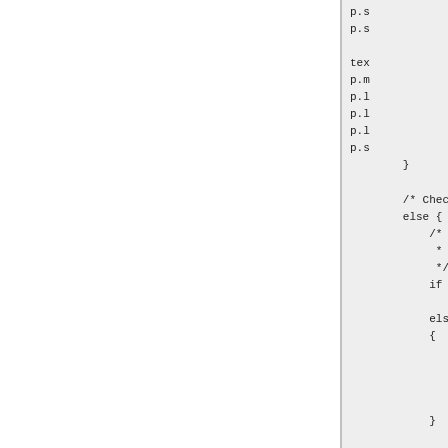[Figure (screenshot): Two-panel code viewer. Left panel is white/blank. Right panel shows a gray background with partial source code lines visible: p.s, p.s, tex, p.m, p.l, p.l, p.l, p.s, closing brace, comment /* Chec, else {, /*, *, */, if, els, {, closing brace.]